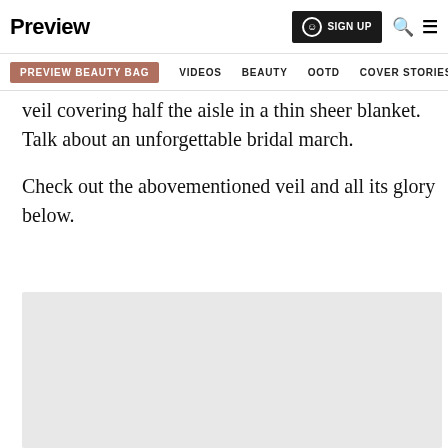Preview | SIGN UP | Search | Menu | PREVIEW BEAUTY BAG | VIDEOS | BEAUTY | OOTD | COVER STORIES
veil covering half the aisle in a thin sheer blanket. Talk about an unforgettable bridal march.
Check out the abovementioned veil and all its glory below.
[Figure (photo): Light grey image placeholder area for photo of the veil]